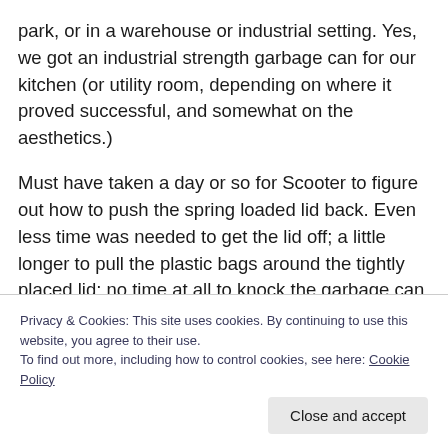park, or in a warehouse or industrial setting.  Yes, we got an industrial strength garbage can for our kitchen (or utility room, depending on where it proved successful, and somewhat on the aesthetics.)
Must have taken a day or so for Scooter to figure out how to push the spring loaded lid back.  Even less time was needed to get the lid off; a little longer to pull the plastic bags around the tightly placed lid; no time at all to knock the garbage can over…etc., etc.
….li… …di…th…t……th…t………i…………ith…l…
Privacy & Cookies: This site uses cookies. By continuing to use this website, you agree to their use.
To find out more, including how to control cookies, see here: Cookie Policy